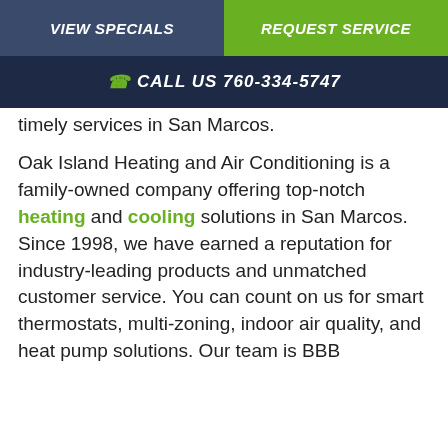VIEW SPECIALS | REQUEST SERVICE
CALL US 760-334-5747
...timely services in San Marcos.
Oak Island Heating and Air Conditioning is a family-owned company offering top-notch heating and cooling solutions in San Marcos. Since 1998, we have earned a reputation for industry-leading products and unmatched customer service. You can count on us for smart thermostats, multi-zoning, indoor air quality, and heat pump solutions. Our team is BBB